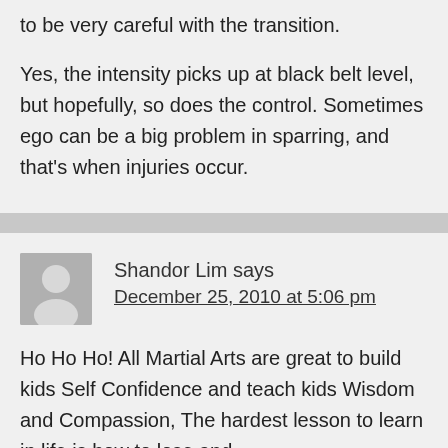to be very careful with the transition.
Yes, the intensity picks up at black belt level, but hopefully, so does the control. Sometimes ego can be a big problem in sparring, and that's when injuries occur.
Shandor Lim says
December 25, 2010 at 5:06 pm
Ho Ho Ho! All Martial Arts are great to build kids Self Confidence and teach kids Wisdom and Compassion, The hardest lesson to learn in life is how to lose and